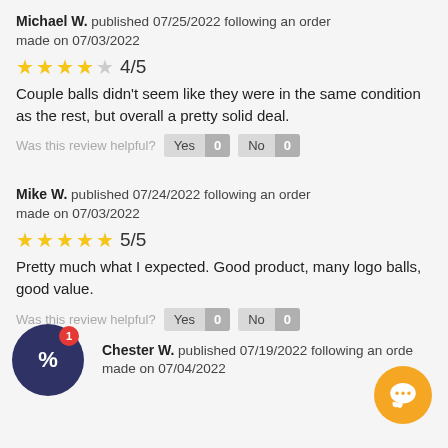Michael W. published 07/25/2022 following an order made on 07/03/2022
4/5
Couple balls didn't seem like they were in the same condition as the rest, but overall a pretty solid deal.
Was this review helpful? Yes 0 No 0
Mike W. published 07/24/2022 following an order made on 07/03/2022
5/5
Pretty much what I expected. Good product, many logo balls, good value.
Was this review helpful? Yes 0 No 0
Chester W. published 07/19/2022 following an order made on 07/04/2022